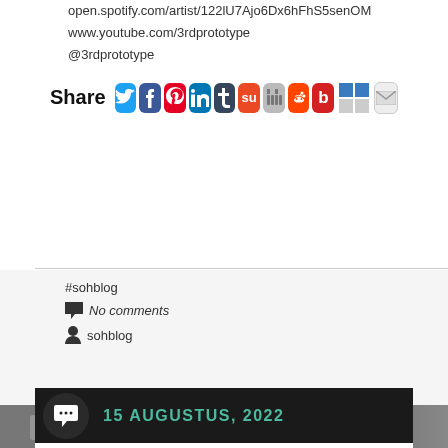open.spotify.com/artist/122lU7AjoDx6hFhS5senOM
www.youtube.com/3rdprototype
@3rdprototype
[Figure (infographic): Share icons row: Twitter, Facebook, Pinterest, LinkedIn, Tumblr, StumbleUpon, Digg, Reddit, Beats, Delicious, Email]
#sohblog
No comments
sohblog
[Figure (photo): Blurred dark background image of a laptop/music production setup]
15 AUGUSTUS, 2022
Inpetto & Nadia Gattas – Wasting
[Figure (photo): Album art for Inpetto & Nadia Gattas - Wasting, dark blue space background with white text reading INPETTO & NADIA GATTAS WASTING, FHM248 on side]